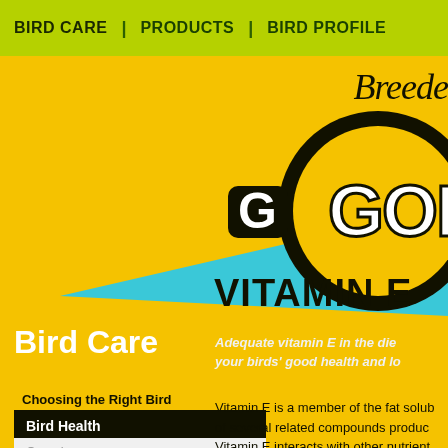BIRD CARE | PRODUCTS | BIRD PROFILE
[Figure (logo): Breeder Gold brand logo with circular badge and blue beam/arrow graphic on yellow background]
VITAMIN E
Bird Care
Adequate vitamin E in the diet is essential for your birds' good health and lo...
Choosing the Right Bird
Bird Health
Overview
Vitamin A
Vitamin E is a member of the fat soluble family of several related compounds produc... Vitamin E interacts with other nutrients and the whole metabolism process.